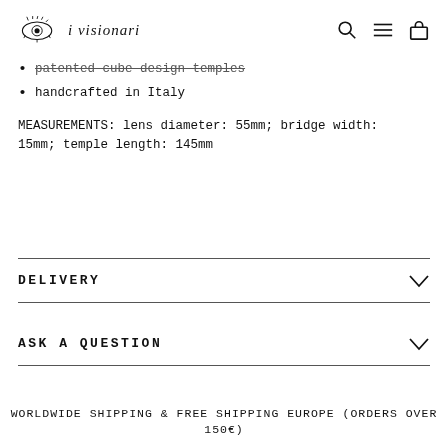i visionari [logo with eye icon, search, menu, cart icons]
patented cube design temples
handcrafted in Italy
MEASUREMENTS: lens diameter: 55mm; bridge width: 15mm; temple length: 145mm
DELIVERY
ASK A QUESTION
WORLDWIDE SHIPPING & FREE SHIPPING EUROPE (ORDERS OVER 150€)